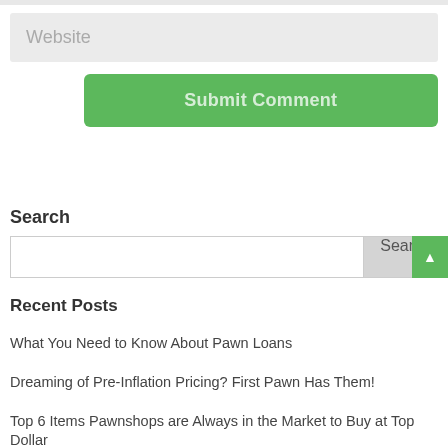Website
Submit Comment
Search
Search
Recent Posts
What You Need to Know About Pawn Loans
Dreaming of Pre-Inflation Pricing? First Pawn Has Them!
Top 6 Items Pawnshops are Always in the Market to Buy at Top Dollar
Do You Love Diamonds? – First Pawn Has High-Quality Diamond Jewelry